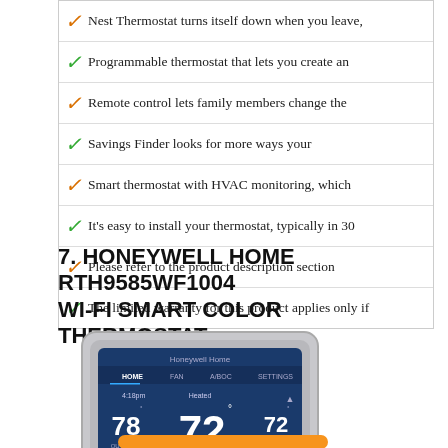Nest Thermostat turns itself down when you leave,
Programmable thermostat that lets you create an
Remote control lets family members change the
Savings Finder looks for more ways your
Smart thermostat with HVAC monitoring, which
It's easy to install your thermostat, typically in 30
Please refer to the product description section
The limited warranty for this product applies only if
7. HONEYWELL HOME RTH9585WF1004 WI-FI SMART COLOR THERMOSTAT
[Figure (photo): Honeywell Home RTH9585WF1004 Wi-Fi Smart Color Thermostat device showing a touchscreen display with temperature reading of 72°F, set point 78°F and 72°F, on a silver/grey body.]